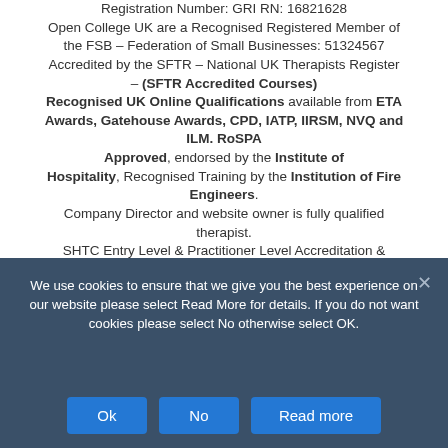Registration Number: GRI RN: 16821628
Open College UK are a Recognised Registered Member of the FSB – Federation of Small Businesses: 51324567
Accredited by the SFTR – National UK Therapists Register – (SFTR Accredited Courses)
Recognised UK Online Qualifications available from ETA Awards, Gatehouse Awards, CPD, IATP, IIRSM, NVQ and ILM. RoSPA Approved, endorsed by the Institute of Hospitality, Recognised Training by the Institution of Fire Engineers.
Company Director and website owner is fully qualified therapist.
SHTC Entry Level & Practitioner Level Accreditation & Membership Availability
Open College UK Ltd – Registered D-U-N-S® Number: 346575866
We use cookies to ensure that we give you the best experience on our website please select Read More for details. If you do not want cookies please select No otherwise select OK.